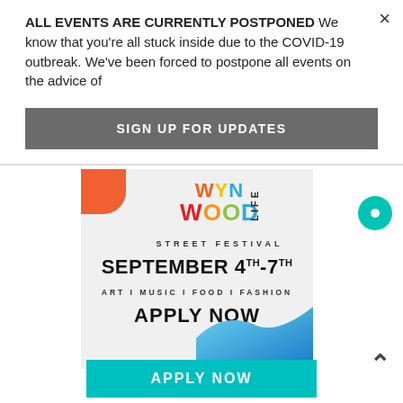ALL EVENTS ARE CURRENTLY POSTPONED We know that you're all stuck inside due to the COVID-19 outbreak. We've been forced to postpone all events on the advice of
×
SIGN UP FOR UPDATES
[Figure (infographic): Wynwood Life Street Festival promotional banner: SEPTEMBER 4TH-7TH, ART | MUSIC | FOOD | FASHION, APPLY NOW, with colorful logo, orange corner accent, and blue wave decoration]
APPLY NOW